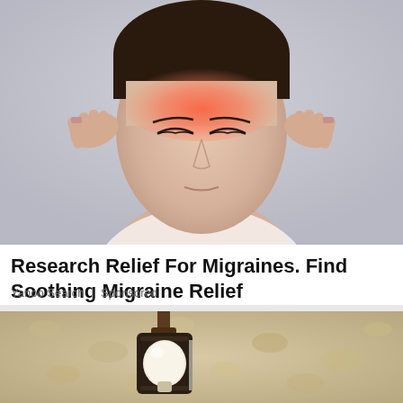[Figure (photo): Woman with migraine headache, pressing fingers to temples, red/orange glow on forehead indicating pain area, wearing white top, light gray background]
Research Relief For Migraines. Find Soothing Migraine Relief
Yahoo Search | Sponsored
[Figure (photo): Outdoor wall-mounted light fixture with globe bulb, mounted on textured stucco wall, partially cropped]